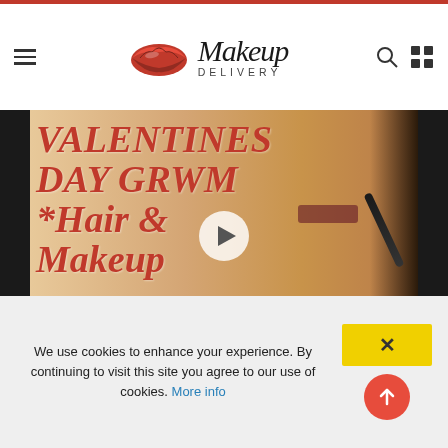Makeup Delivery
[Figure (screenshot): Video thumbnail for Valentine's Day GRWM Makeup, Hair and Dress tutorial. Shows bold red italic text overlaying a woman applying mascara. A play button is centered on the thumbnail.]
Valentine's Day GRWM Makeup, Hair and Dress
February 6 · 5,307 Views
[Figure (photo): Partial view of another video thumbnail featuring a person with blonde hair. Partially visible text reads 'quitting the']
We use cookies to enhance your experience. By continuing to visit this site you agree to our use of cookies. More info